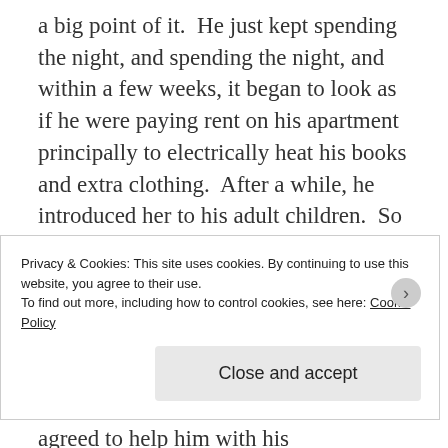a big point of it.  He just kept spending the night, and spending the night, and within a few weeks, it began to look as if he were paying rent on his apartment principally to electrically heat his books and extra clothing.  After a while, he introduced her to his adult children.  So she had to introduce him to her adult children. With some hesitation (it was not a good idea to show up with someone who might not be in her life next year), she brought him to the office Christmas party.  At tax time, she agreed to help him with his
Privacy & Cookies: This site uses cookies. By continuing to use this website, you agree to their use.
To find out more, including how to control cookies, see here: Cookie Policy
Close and accept